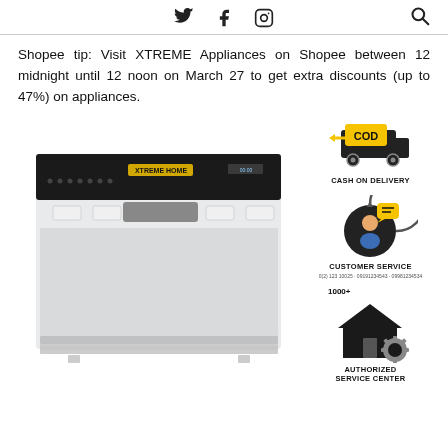Twitter | Facebook | Instagram | Search
Shopee tip: Visit XTREME Appliances on Shopee between 12 midnight until 12 noon on March 27 to get extra discounts (up to 47%) on appliances.
[Figure (photo): White countertop dishwasher with black control panel (XTREME HOME branding), shown from the front, with visible buttons and handle.]
[Figure (infographic): Three service badges: COD (Cash on Delivery) with delivery truck icon; Customer Service with agent icon; 1000+ Authorized Service Center with house/gear icon.]